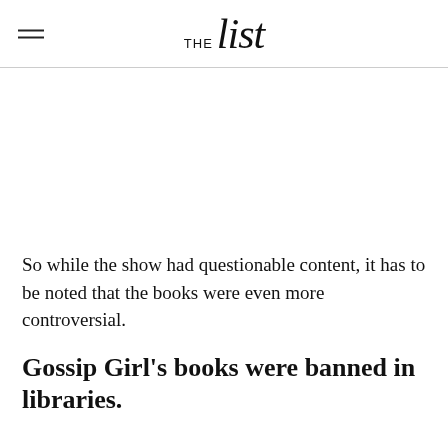THE list
So while the show had questionable content, it has to be noted that the books were even more controversial.
Gossip Girl's books were banned in libraries.